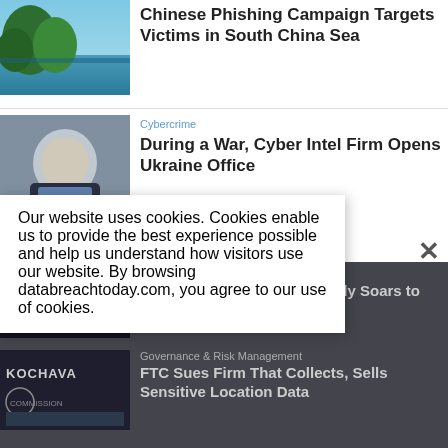[Figure (photo): Tropical island coastal photo with green trees and blue water]
Chinese Phishing Campaign Targets Victims in South China Sea
[Figure (photo): Portrait of a man in a suit with beard]
Cybercrime
During a War, Cyber Intel Firm Opens Ukraine Office
Breach Notification
Printing Vendor's Breach Tally Soars to Nearly 2.7 Million
Governance & Risk Management
FTC Sues Firm That Collects, Sells Sensitive Location Data
Our website uses cookies. Cookies enable us to provide the best experience possible and help us understand how visitors use our website. By browsing databreachtoday.com, you agree to our use of cookies.